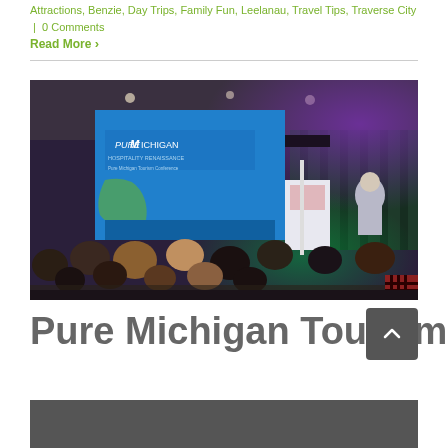Attractions, Benzie, Day Trips, Family Fun, Leelanau, Travel Tips, Traverse City | 0 Comments
Read More ›
[Figure (photo): Conference room with audience seated at tables, speaker at podium on stage, large screen displaying 'Pure Michigan Hospitality Renaissance' presentation with Michigan map graphic, purple and green stage lighting.]
Pure Michigan Tourism Confere…